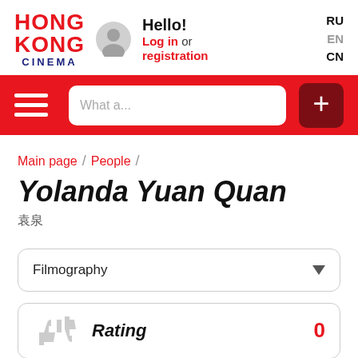HONG KONG CINEMA
Hello! Log in or registration
RU EN CN
What a...
Main page / People /
Yolanda Yuan Quan
袁泉
Filmography
Rating 0